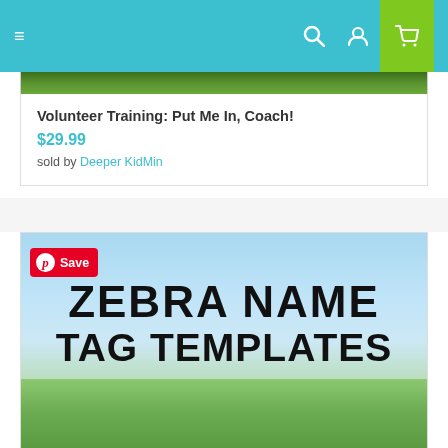Navigation bar with menu, search, user, and cart icons
Volunteer Training: Put Me In, Coach!
$29.99
sold by Deeper KidMin
[Figure (photo): Product thumbnail image showing foliage/greenery at top]
[Figure (photo): Zebra Name Tag Templates product image showing zebras grazing on African savanna with sky background and bold text 'ZEBRA NAME TAG TEMPLATES' overlaid]